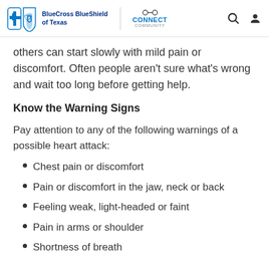BlueCross BlueShield of Texas | CONNECT COMMUNITY
others can start slowly with mild pain or discomfort. Often people aren't sure what's wrong and wait too long before getting help.
Know the Warning Signs
Pay attention to any of the following warnings of a possible heart attack:
Chest pain or discomfort
Pain or discomfort in the jaw, neck or back
Feeling weak, light-headed or faint
Pain in arms or shoulder
Shortness of breath